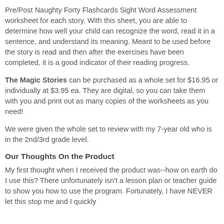Pre/Post Naughty Forty Flashcards Sight Word Assessment worksheet for each story. With this sheet, you are able to determine how well your child can recognize the word, read it in a sentence, and understand its meaning. Meant to be used before the story is read and then after the exercises have been completed, it is a good indicator of their reading progress.
The Magic Stories can be purchased as a whole set for $16.95 or individually at $3.95 ea. They are digital, so you can take them with you and print out as many copies of the worksheets as you need!
We were given the whole set to review with my 7-year old who is in the 2nd/3rd grade level.
Our Thoughts On the Product
My first thought when I received the product was--how on earth do I use this? There unfortunately isn't a lesson plan or teacher guide to show you how to use the program. Fortunately, I have NEVER let this stop me and I quickly